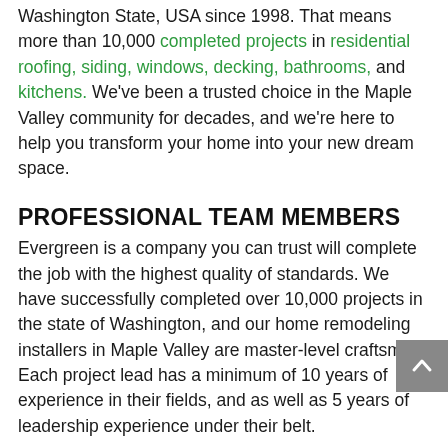Washington State, USA since 1998. That means more than 10,000 completed projects in residential roofing, siding, windows, decking, bathrooms, and kitchens. We've been a trusted choice in the Maple Valley community for decades, and we're here to help you transform your home into your new dream space.
PROFESSIONAL TEAM MEMBERS
Evergreen is a company you can trust will complete the job with the highest quality of standards. We have successfully completed over 10,000 projects in the state of Washington, and our home remodeling installers in Maple Valley are master-level craftsmen. Each project lead has a minimum of 10 years of experience in their fields, and as well as 5 years of leadership experience under their belt.
But we don't stop there. Everyone on the Evergreen team has also been background-checked...